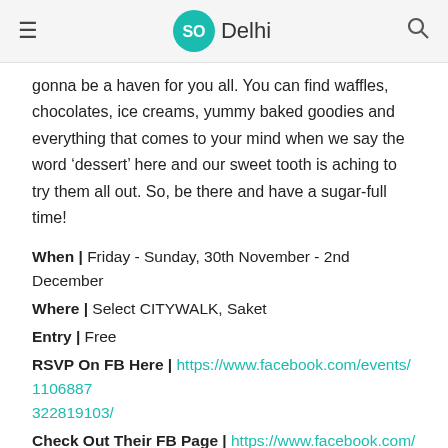SO Delhi
gonna be a haven for you all. You can find waffles, chocolates, ice creams, yummy baked goodies and everything that comes to your mind when we say the word ‘dessert’ here and our sweet tooth is aching to try them all out. So, be there and have a sugar-full time!
When | Friday - Sunday, 30th November - 2nd December
Where | Select CITYWALK, Saket
Entry | Free
RSVP On FB Here | https://www.facebook.com/events/11068873228191​03/
Check Out Their FB Page | https://www.facebook.com/dessertarianfest/
5. Palate Fest